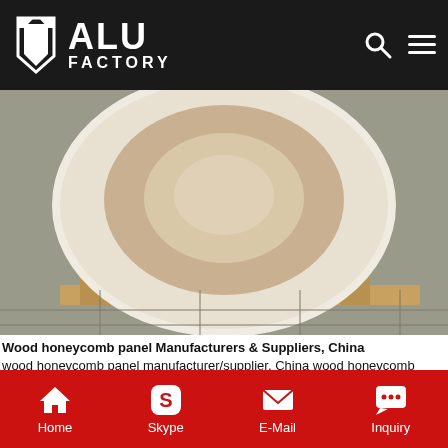ALU FACTORY
[Figure (photo): Large white/cardboard cylindrical roll of material on wooden pallet on factory floor]
Wood honeycomb panel Manufacturers & Suppliers, China wood honeycomb panel manufacturer/supplier, China wood honeycomb panel manufacturer & factory list, find qualified Chinese wood honeycomb panel manufacturers, suppliers, factories, exporters & wholesalers quickly on Made-in-China.com.
Get Price
[Figure (photo): Aluminum sheets stacked, showing metallic reflective surface]
Home   Skype   E-Mail   Inquiry